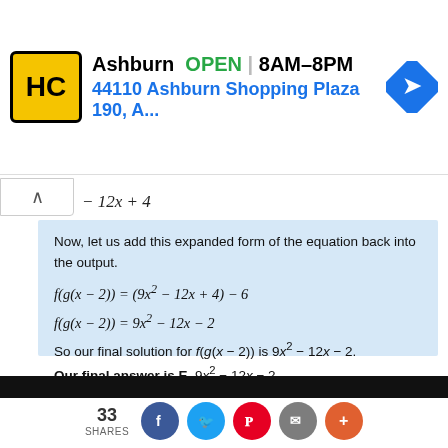[Figure (screenshot): Advertisement banner for Ashburn HC store showing logo, open hours 8AM-8PM, and address 44110 Ashburn Shopping Plaza 190]
Now, let us add this expanded form of the equation back into the output.
So our final solution for f(g(x − 2)) is 9x² − 12x − 2.
Our final answer is E, 9x² − 12x − 2.